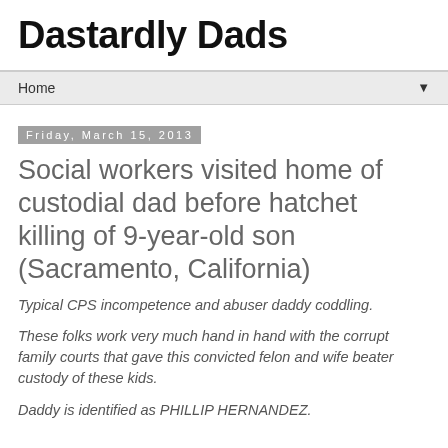Dastardly Dads
Home
Friday, March 15, 2013
Social workers visited home of custodial dad before hatchet killing of 9-year-old son (Sacramento, California)
Typical CPS incompetence and abuser daddy coddling.
These folks work very much hand in hand with the corrupt family courts that gave this convicted felon and wife beater custody of these kids.
Daddy is identified as PHILLIP HERNANDEZ.